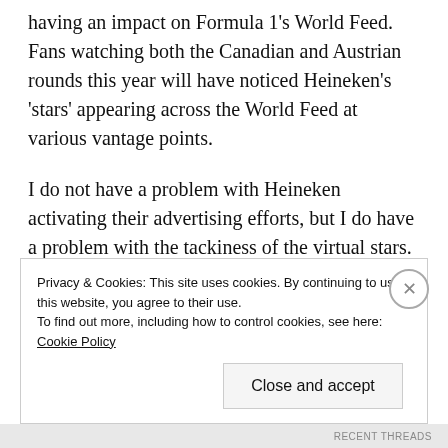having an impact on Formula 1's World Feed. Fans watching both the Canadian and Austrian rounds this year will have noticed Heineken's 'stars' appearing across the World Feed at various vantage points.
I do not have a problem with Heineken activating their advertising efforts, but I do have a problem with the tackiness of the virtual stars. For a world-class sport, it looks and feels like an amateur hour effort. It detracts from the overall spectacle, and arguably is one of the worst examples of virtual
Privacy & Cookies: This site uses cookies. By continuing to use this website, you agree to their use.
To find out more, including how to control cookies, see here: Cookie Policy
Close and accept